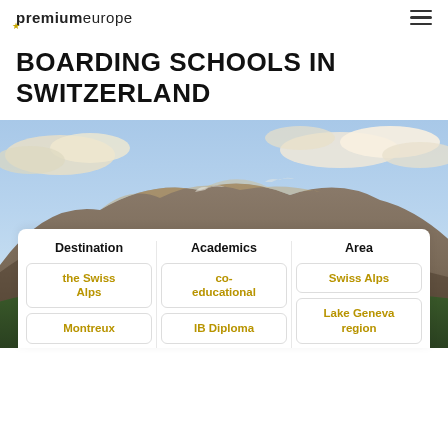premiumeurope
BOARDING SCHOOLS IN SWITZERLAND
[Figure (photo): Panoramic mountain landscape photo showing Swiss Alps with dramatic sky and clouds at sunset/dusk, with forested lower slopes]
Destination | Academics | Area
the Swiss Alps
co-educational
Swiss Alps
Montreux
IB Diploma
Lake Geneva region